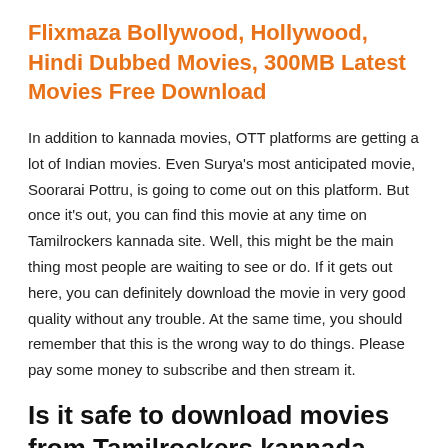Flixmaza Bollywood, Hollywood, Hindi Dubbed Movies, 300MB Latest Movies Free Download
In addition to kannada movies, OTT platforms are getting a lot of Indian movies. Even Surya's most anticipated movie, Soorarai Pottru, is going to come out on this platform. But once it's out, you can find this movie at any time on Tamilrockers kannada site. Well, this might be the main thing most people are waiting to see or do. If it gets out here, you can definitely download the movie in very good quality without any trouble. At the same time, you should remember that this is the wrong way to do things. Please pay some money to subscribe and then stream it.
Is it safe to download movies from Tamilrockers kannada site?